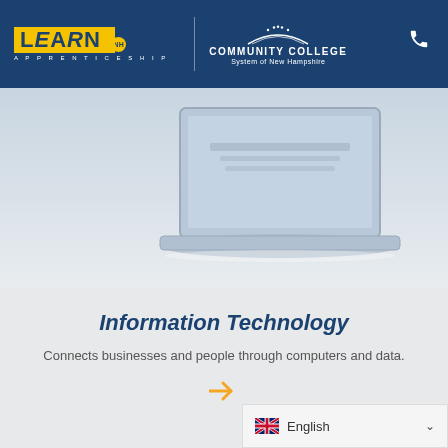[Figure (logo): LEARN NH Apprenticeship and Community College System of New Hampshire logos in blue header with phone icon]
[Figure (photo): Laptop computer on a light blue-grey gradient background]
Information Technology
Connects businesses and people through computers and data.
[Figure (other): Orange right-arrow navigation icon]
English